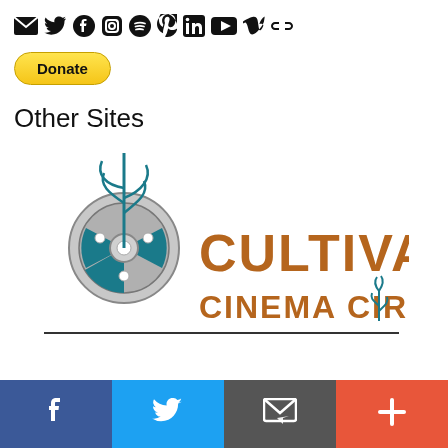[Figure (other): Row of social media icons: email, Twitter, Facebook, Instagram, Spotify, Pinterest, LinkedIn, YouTube, Vimeo, link]
[Figure (other): PayPal Donate button with yellow rounded rectangle style]
Other Sites
[Figure (logo): Cultivate Cinema Circle logo: teal film reel with plant growing out of it, brown text reading CULTIVATE CINEMA CIRCLE with small teal plant illustration]
[Figure (other): Bottom share bar with four sections: Facebook (blue), Twitter (light blue), Email (gray), Plus/More (orange-red)]